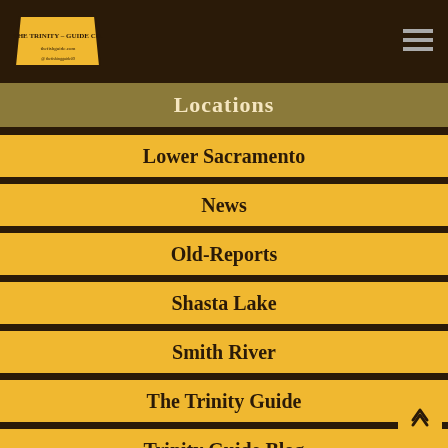THE TRINITY – GUIDE CO.
Locations
Lower Sacramento
News
Old-Reports
Shasta Lake
Smith River
The Trinity Guide
Trinity Guide Blog
Trinity Lake
Trinity River